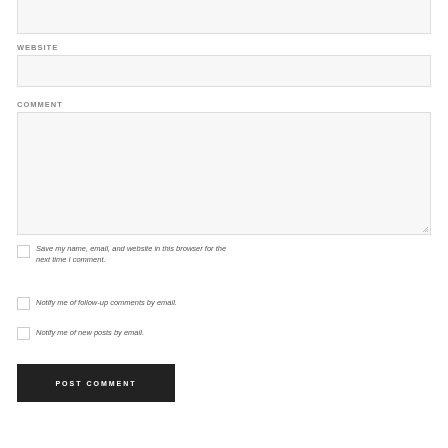WEBSITE
COMMENT
Save my name, email, and website in this browser for the next time I comment.
Notify me of follow-up comments by email.
Notify me of new posts by email.
POST COMMENT